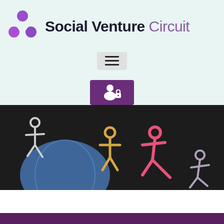Social Venture Circuit
[Figure (logo): Social Venture Circuit logo with purple clover/network icon and brand name]
[Figure (screenshot): Hamburger menu button (three horizontal lines) on light teal background]
[Figure (screenshot): Purple login/user button with user and lock icon]
[Figure (photo): Chalk drawing on blackboard showing colorful stick figures (people) connected around a globe, in pink, yellow, and white chalk]
[Figure (other): White section below hero image]